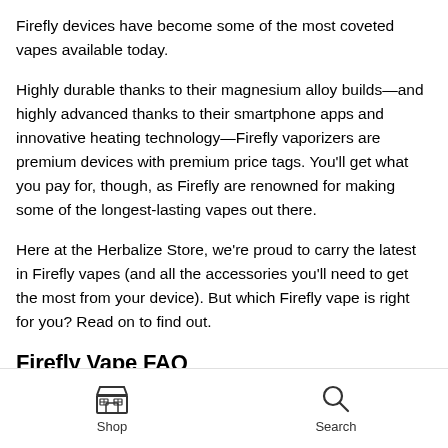Firefly devices have become some of the most coveted vapes available today.
Highly durable thanks to their magnesium alloy builds—and highly advanced thanks to their smartphone apps and innovative heating technology—Firefly vaporizers are premium devices with premium price tags. You'll get what you pay for, though, as Firefly are renowned for making some of the longest-lasting vapes out there.
Here at the Herbalize Store, we're proud to carry the latest in Firefly vapes (and all the accessories you'll need to get the most from your device). But which Firefly vape is right for you? Read on to find out.
Firefly Vape FAQ
Shop  Search